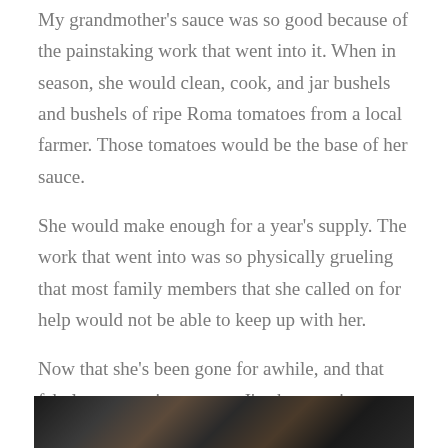My grandmother's sauce was so good because of the painstaking work that went into it. When in season, she would clean, cook, and jar bushels and bushels of ripe Roma tomatoes from a local farmer. Those tomatoes would be the base of her sauce.
She would make enough for a year's supply. The work that went into was so physically grueling that most family members that she called on for help would not be able to keep up with her.
Now that she's been gone for awhile, and that fabulous sauce is no more, I've been trying my hand in the kitchen with my sauce pot, trying to recreate that magic. And you know what? Trying to be as good as my Nonna in the kitchen is a concept met with failure.
[Figure (photo): A dark photograph partially visible at the bottom of the page, showing what appears to be a person or close-up portrait in dark tones.]